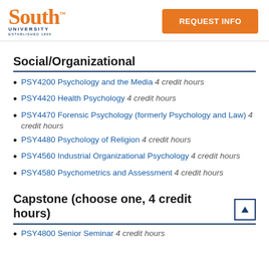South University — REQUEST INFO
Social/Organizational
PSY4200 Psychology and the Media 4 credit hours
PSY4420 Health Psychology 4 credit hours
PSY4470 Forensic Psychology (formerly Psychology and Law) 4 credit hours
PSY4480 Psychology of Religion 4 credit hours
PSY4560 Industrial Organizational Psychology 4 credit hours
PSY4580 Psychometrics and Assessment 4 credit hours
Capstone (choose one, 4 credit hours)
PSY4800 Senior Seminar 4 credit hours